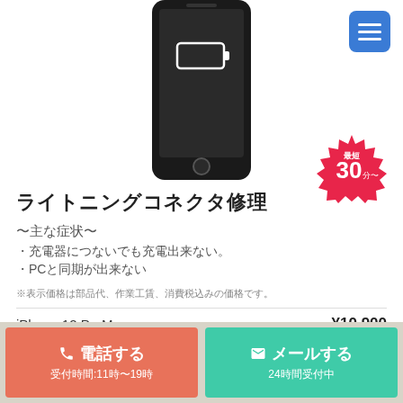[Figure (illustration): Black iPhone with low battery icon on screen, partially cropped at top]
[Figure (infographic): Red spiky badge with text '最短 30分〜']
ライトニングコネクタ修理
〜主な症状〜
・充電器につないでも充電出来ない。
・PCと同期が出来ない
※表示価格は部品代、作業工賃、消費税込みの価格です。
| Model | Price |
| --- | --- |
| iPhone 12 ProMax | ¥10,900 |
電話する 受付時間:11時〜19時
メールする 24時間受付中